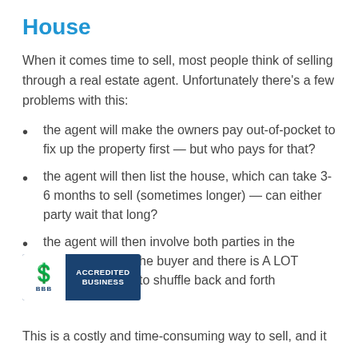House
When it comes time to sell, most people think of selling through a real estate agent. Unfortunately there’s a few problems with this:
the agent will make the owners pay out-of-pocket to fix up the property first — but who pays for that?
the agent will then list the house, which can take 3-6 months to sell (sometimes longer) — can either party wait that long?
the agent will then involve both parties in the negotiation with the buyer and there is A LOT of to shuffle back and forth
[Figure (logo): BBB Accredited Business badge with blue background, white BBB logo on left side, and ACCREDITED BUSINESS text in white on right side]
This is a costly and time-consuming way to sell, and it